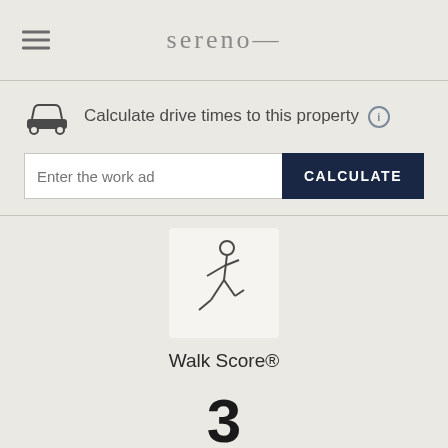sereno—
Calculate drive times to this property
Enter the work address | CALCULATE
[Figure (illustration): Walking person icon (pedestrian silhouette) in a light gray box]
Walk Score®
3
Car-Dependent